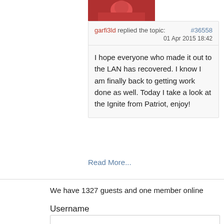[Figure (photo): Avatar image showing a partial view of a cartoon or stylized character with red/pink coloring at the top of the comment card]
garfi3ld replied the topic:    #36558
01 Apr 2015 18:42
I hope everyone who made it out to the LAN has recovered. I know I am finally back to getting work done as well. Today I take a look at the Ignite from Patriot, enjoy!
Read More...
We have 1327 guests and one member online
Username